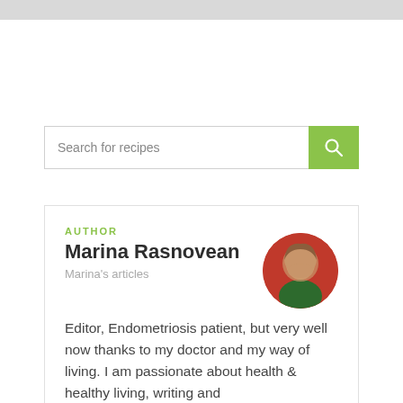[Figure (other): Gray bar at top of page]
Search for recipes
AUTHOR
Marina Rasnovean
Marina's articles
Editor, Endometriosis patient, but very well now thanks to my doctor and my way of living. I am passionate about health & healthy living, writing and